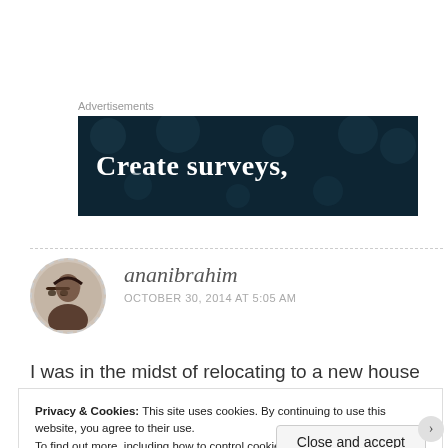Advertisements
[Figure (illustration): Dark navy blue advertisement banner with white bold text reading 'Create surveys,' with decorative circular dot patterns in the background]
ananibrahim
OCTOBER 30, 2014 AT 5:05 AM
I was in the midst of relocating to a new house and that
Privacy & Cookies: This site uses cookies. By continuing to use this website, you agree to their use.
To find out more, including how to control cookies, see here: Cookie Policy
Close and accept